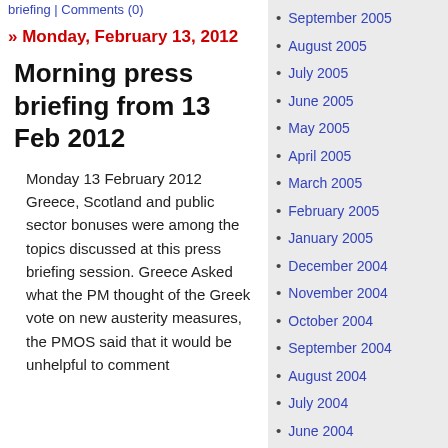briefing | Comments (0)
» Monday, February 13, 2012
Morning press briefing from 13 Feb 2012
Monday 13 February 2012 Greece, Scotland and public sector bonuses were among the topics discussed at this press briefing session. Greece Asked what the PM thought of the Greek vote on new austerity measures, the PMOS said that it would be unhelpful to comment
September 2005
August 2005
July 2005
June 2005
May 2005
April 2005
March 2005
February 2005
January 2005
December 2004
November 2004
October 2004
September 2004
August 2004
July 2004
June 2004
May 2004
April 2004
March 2004
February 2004
January 1970